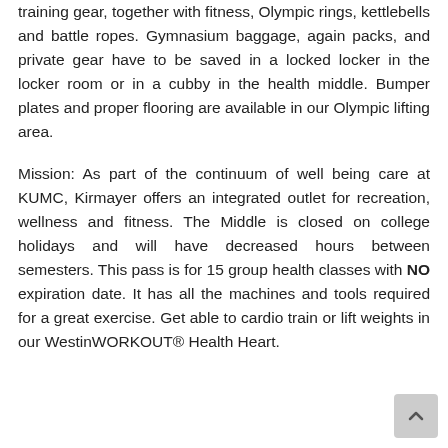training gear, together with fitness, Olympic rings, kettlebells and battle ropes. Gymnasium baggage, again packs, and private gear have to be saved in a locked locker in the locker room or in a cubby in the health middle. Bumper plates and proper flooring are available in our Olympic lifting area.
Mission: As part of the continuum of well being care at KUMC, Kirmayer offers an integrated outlet for recreation, wellness and fitness. The Middle is closed on college holidays and will have decreased hours between semesters. This pass is for 15 group health classes with NO expiration date. It has all the machines and tools required for a great exercise. Get able to cardio train or lift weights in our WestinWORKOUT® Health Heart.